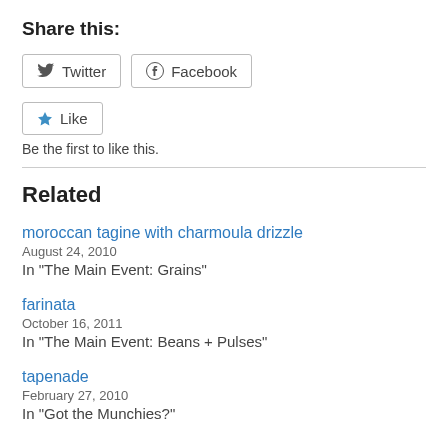Share this:
[Figure (screenshot): Twitter and Facebook share buttons, then a Like button with star icon]
Be the first to like this.
Related
moroccan tagine with charmoula drizzle
August 24, 2010
In "The Main Event: Grains"
farinata
October 16, 2011
In "The Main Event: Beans + Pulses"
tapenade
February 27, 2010
In "Got the Munchies?"